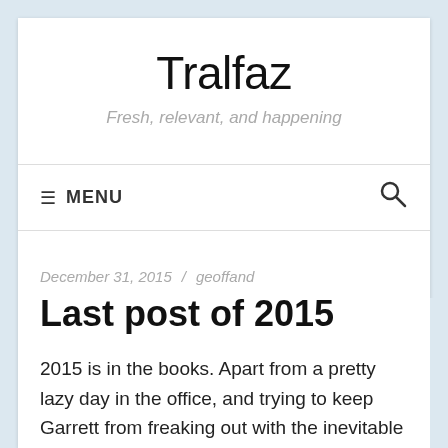Tralfaz
Fresh, relevant, and happening
≡ MENU
December 31, 2015 / geoffand
Last post of 2015
2015 is in the books. Apart from a pretty lazy day in the office, and trying to keep Garrett from freaking out with the inevitable fireworks, you can stick a fork in